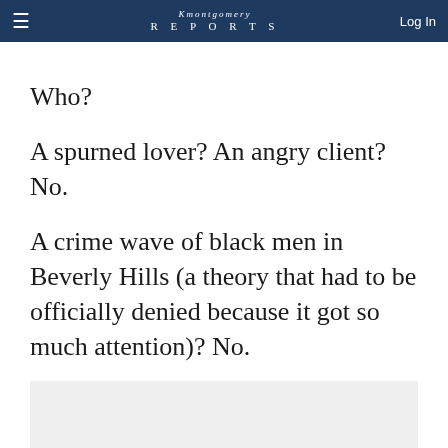REPORTS | Log In
Who?
A spurned lover? An angry client? No.
A crime wave of black men in Beverly Hills (a theory that had to be officially denied because it got so much attention)? No.